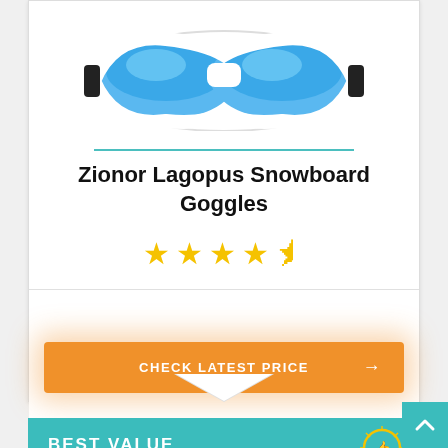[Figure (photo): Snowboard goggles product image with white frame and blue/colorful lens]
Zionor Lagopus Snowboard Goggles
[Figure (infographic): 4.5 star rating shown with gold stars]
[Figure (infographic): Orange CHECK LATEST PRICE button with arrow]
BEST VALUE